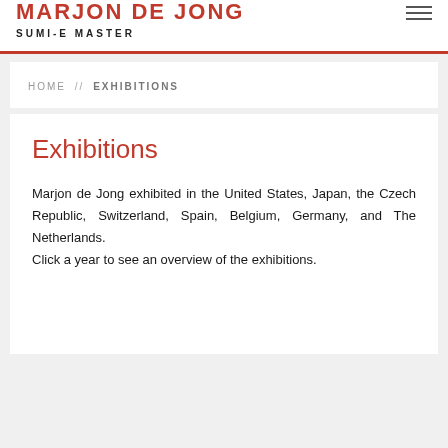MARJON DE JONG
SUMI-E MASTER
HOME // EXHIBITIONS
Exhibitions
Marjon de Jong exhibited in the United States, Japan, the Czech Republic, Switzerland, Spain, Belgium, Germany, and The Netherlands.
Click a year to see an overview of the exhibitions.